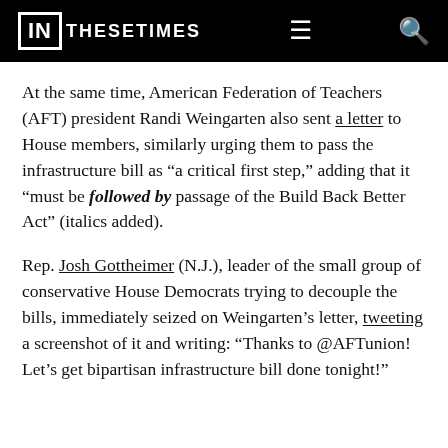IN THESE TIMES
At the same time, American Federation of Teachers (AFT) president Randi Weingarten also sent a letter to House members, similarly urging them to pass the infrastructure bill as “a critical first step,” adding that it “must be followed by passage of the Build Back Better Act” (italics added).
Rep. Josh Gottheimer (N.J.), leader of the small group of conservative House Democrats trying to decouple the bills, immediately seized on Weingarten’s letter, tweeting a screenshot of it and writing: “Thanks to @AFTunion! Let’s get bipartisan infrastructure bill done tonight!”